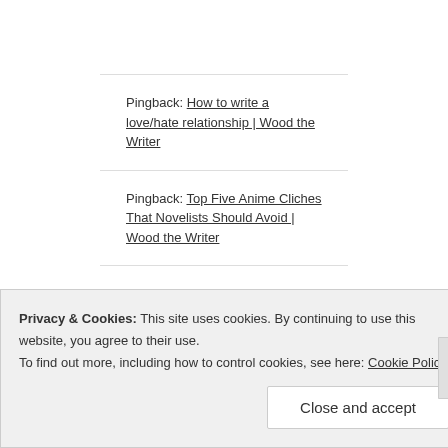Pingback: How to write a love/hate relationship | Wood the Writer
Pingback: Top Five Anime Cliches That Novelists Should Avoid | Wood the Writer
Pingback: Top Four Book Subplots Which Were Better Than the Main Plot | Wood the Writer
Privacy & Cookies: This site uses cookies. By continuing to use this website, you agree to their use. To find out more, including how to control cookies, see here: Cookie Policy